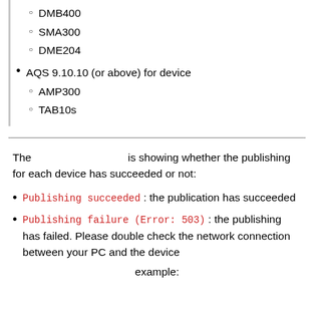DMB400
SMA300
DME204
AQS 9.10.10 (or above) for device
AMP300
TAB10s
The [blank] is showing whether the publishing for each device has succeeded or not:
Publishing succeeded: the publication has succeeded
Publishing failure (Error: 503): the publishing has failed. Please double check the network connection between your PC and the device
example: